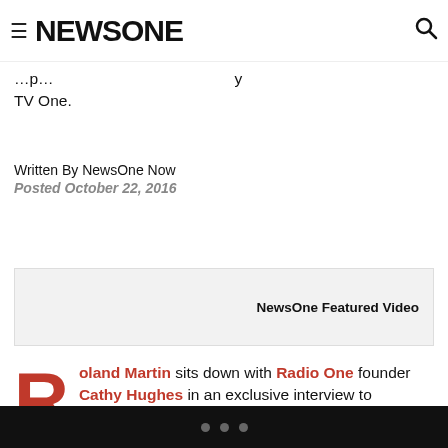NEWSONE
…of  …  …  …  …  …  …y TV One.
Written By NewsOne Now
Posted October 22, 2016
[Figure (other): NewsOne Featured Video placeholder box]
Roland Martin sits down with Radio One founder Cathy Hughes in an exclusive interview to